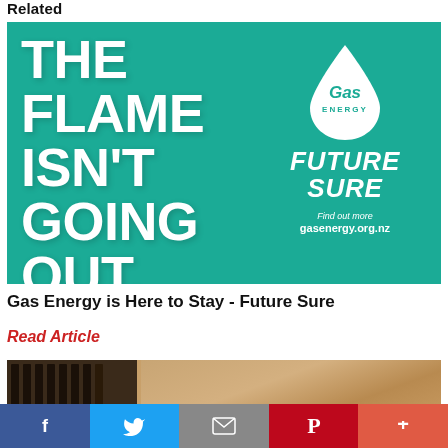Related
[Figure (illustration): Gas Energy advertisement on teal background. Large white bold text on left reads: THE FLAME ISN'T GOING OUT. On the right is a white water-drop/flame icon with 'Gas ENERGY' text inside, below which reads 'FUTURE SURE' in bold italic white, and 'Find out more gasenergy.org.nz' at the bottom right.]
Gas Energy is Here to Stay - Future Sure
Read Article
[Figure (photo): Partial photo of what appears to be wooden paneling or furniture, with dark vertical slats on the left side and warm wood grain on the right.]
f  Twitter bird icon  Envelope icon  Pinterest P icon  +